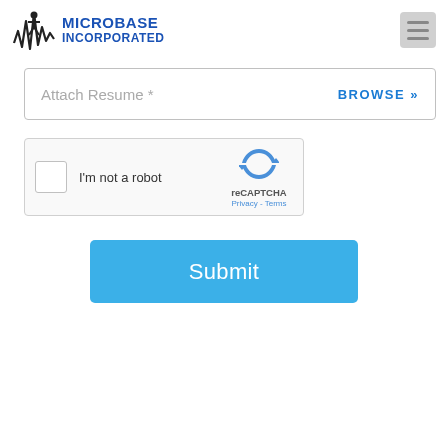[Figure (logo): Microbase Incorporated logo with waveform/figure graphic and blue text]
[Figure (screenshot): Hamburger menu icon (three horizontal bars) in grey box, top right]
Attach Resume *   BROWSE »
[Figure (screenshot): reCAPTCHA widget with checkbox, 'I'm not a robot' text, reCAPTCHA logo, Privacy and Terms links]
Submit